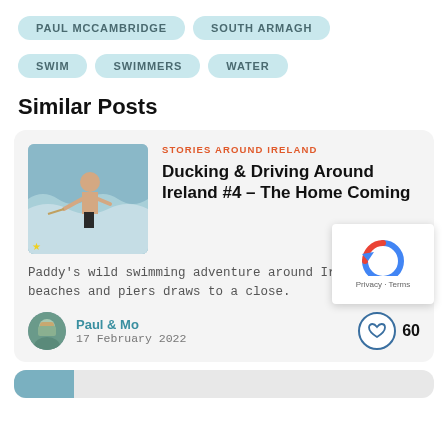PAUL MCCAMBRIDGE
SOUTH ARMAGH
SWIM
SWIMMERS
WATER
Similar Posts
[Figure (photo): Man in sea waves wearing black shorts, wild swimming]
STORIES AROUND IRELAND
Ducking & Driving Around Ireland #4 – The Home Coming
Paddy's wild swimming adventure around Ireland's beaches and piers draws to a close.
Paul & Mo
17 February 2022